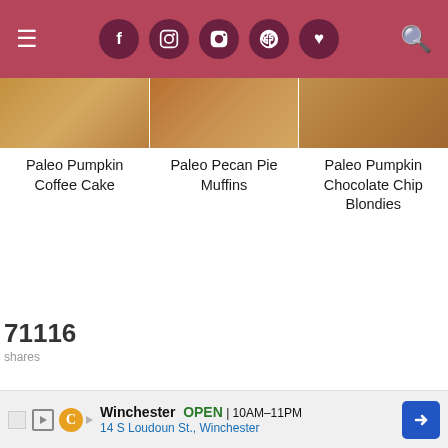Navigation bar with hamburger menu, social icons (Facebook, Instagram, Pinterest, heart), and search icon
[Figure (photo): Three food photos in a row showing baked goods - pumpkin coffee cake, pecan pie muffins, and pumpkin chocolate chip blondies]
Paleo Pumpkin Coffee Cake
Paleo Pecan Pie Muffins
Paleo Pumpkin Chocolate Chip Blondies
71116
shares
[Figure (screenshot): Newsletter signup popup overlay with red background, social sharing sidebar buttons for Facebook, Twitter, Pinterest]
NEVER MISS A RECIPE
Subscribe to receive FREE Whole30, low fodmap, and paleo recipes straight to your inbox!
first name
email
[Figure (screenshot): Advertisement bar at bottom showing Winchester business, OPEN 10AM-11PM, 14 S Loudoun St., Winchester with navigation arrow]